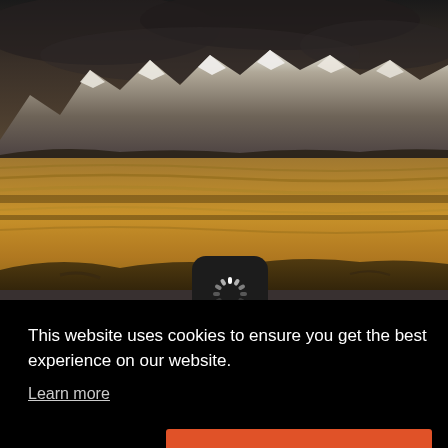[Figure (photo): Aerial/wide landscape photo showing golden wheat fields and snow-capped mountains in the background under a dark, overcast sky.]
[Figure (screenshot): A loading spinner icon (circular dashed spinner) on a dark rounded-rectangle background, partially overlapping the photo and the cookie banner.]
This website uses cookies to ensure you get the best experience on our website.
Learn more
Decline
Allow
[Figure (photo): Partial view of a dark mountainous/road landscape visible to the right of the cookie banner.]